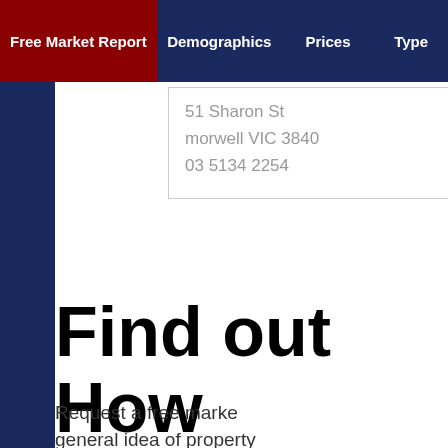Free Market Report | Demographics | Prices | Type
51 Sharon St
morwell VIC 3840
03 5134 2254
Find out How Worth
Request a free marke general idea of property